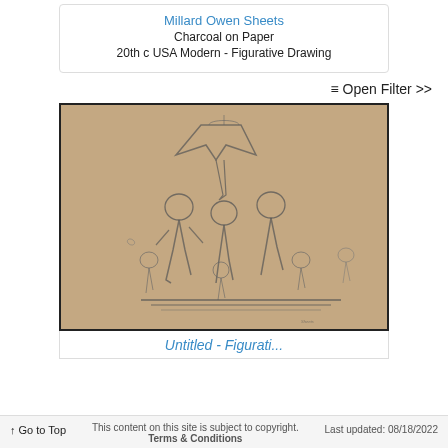Millard Owen Sheets
Charcoal on Paper
20th c USA Modern - Figurative Drawing
≡ Open Filter >>
[Figure (illustration): A charcoal on paper drawing showing a group of figures in a classical or allegorical composition. The scene depicts multiple human figures, some appearing to support or carry a large decorative object or canopy at the top. The figures are arranged in a pyramidal grouping, with several smaller figures at the base. The drawing is done in charcoal on tan/brown paper.]
Untitled - Figurative
↑ Go to Top   This content on this site is subject to copyright.   Terms & Conditions   Last updated: 08/18/2022